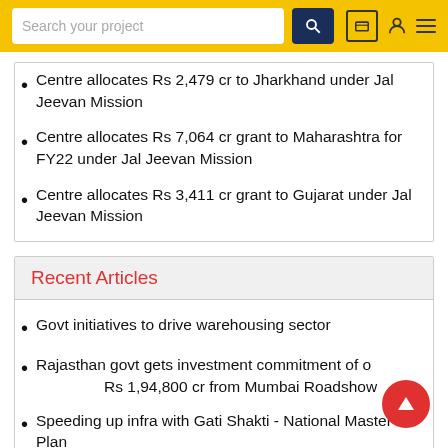Search your project
Centre allocates Rs 2,479 cr to Jharkhand under Jal Jeevan Mission
Centre allocates Rs 7,064 cr grant to Maharashtra for FY22 under Jal Jeevan Mission
Centre allocates Rs 3,411 cr grant to Gujarat under Jal Jeevan Mission
Recent Articles
Govt initiatives to drive warehousing sector
Rajasthan govt gets investment commitment of over Rs 1,94,800 cr from Mumbai Roadshow
Speeding up infra with Gati Shakti - National Master Plan
Warehousing Industry – the sunrise sector post COVID